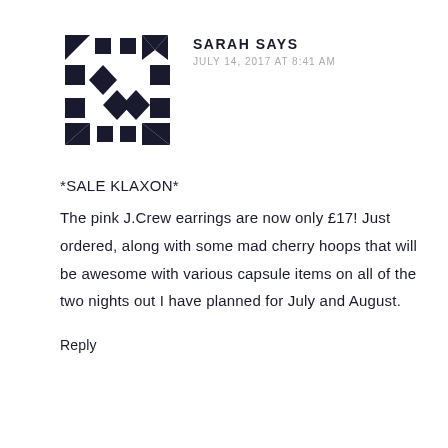[Figure (illustration): Geometric avatar icon made of dark navy triangles, squares, and diamond shapes arranged in a 4x4 grid pattern]
SARAH SAYS
JULY 14, 2017 AT 8:41 AM
*SALE KLAXON*
The pink J.Crew earrings are now only £17! Just ordered, along with some mad cherry hoops that will be awesome with various capsule items on all of the two nights out I have planned for July and August.
Reply